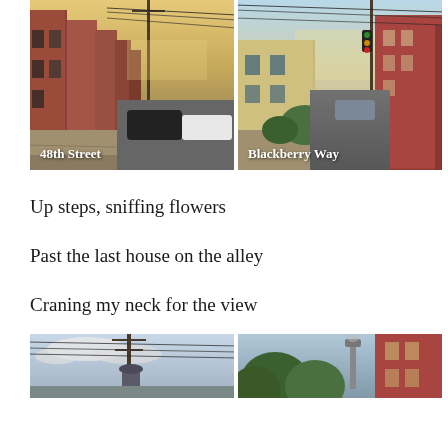[Figure (photo): Street-level photo of 48th Street: row houses and parked cars along a sidewalk at dusk, with utility poles and power lines overhead. Caption '48th Street' in white text at bottom left.]
[Figure (photo): Street-level photo of Blackberry Way: a residential alley with brick row houses on the right and a stone building on the left, at dusk. Caption 'Blackberry Way' in white text at bottom left.]
Up steps, sniffing flowers
Past the last house on the alley
Craning my neck for the view
[Figure (photo): Partial view of a street scene with utility poles and wires against a cloudy sky, possibly a water tower visible.]
[Figure (photo): Partial view of a building with trees and foliage in the foreground, brick structure visible.]